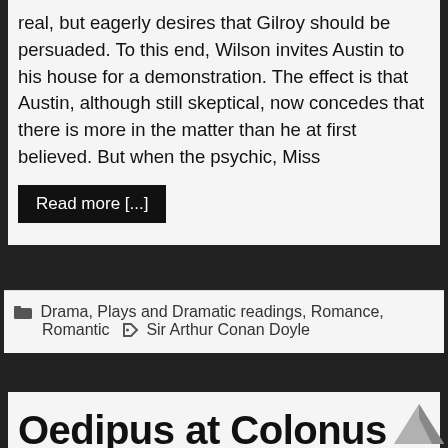real, but eagerly desires that Gilroy should be persuaded. To this end, Wilson invites Austin to his house for a demonstration. The effect is that Austin, although still skeptical, now concedes that there is more in the matter than he at first believed. But when the psychic, Miss
Read more [...]
Drama, Plays and Dramatic readings, Romance, Romantic  Sir Arthur Conan Doyle
Oedipus at Colonus Audiobook
October 23, 2014